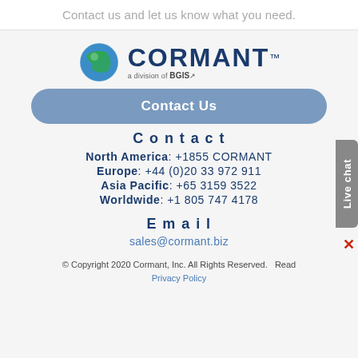Contact us and let us know what you need.
[Figure (logo): Cormant logo with globe icon and 'a division of BGIS' tagline]
Contact Us
Contact
North America: +1855 CORMANT
Europe: +44 (0)20 33 972 911
Asia Pacific: +65 3159 3522
Worldwide: +1 805 747 4178
Email
sales@cormant.biz
© Copyright 2020 Cormant, Inc. All Rights Reserved.   Read Privacy Policy